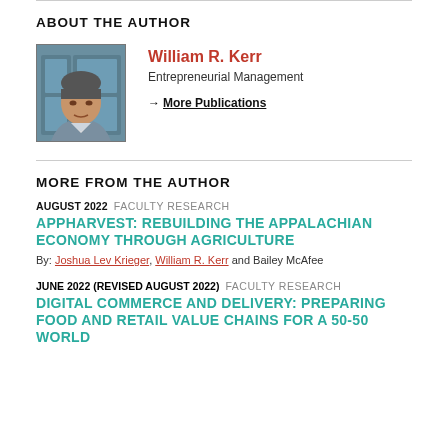ABOUT THE AUTHOR
[Figure (photo): Headshot photo of William R. Kerr]
William R. Kerr
Entrepreneurial Management
→ More Publications
MORE FROM THE AUTHOR
AUGUST 2022  FACULTY RESEARCH
APPHARVEST: REBUILDING THE APPALACHIAN ECONOMY THROUGH AGRICULTURE
By: Joshua Lev Krieger, William R. Kerr and Bailey McAfee
JUNE 2022 (REVISED AUGUST 2022)  FACULTY RESEARCH
DIGITAL COMMERCE AND DELIVERY: PREPARING FOOD AND RETAIL VALUE CHAINS FOR A 50-50 WORLD